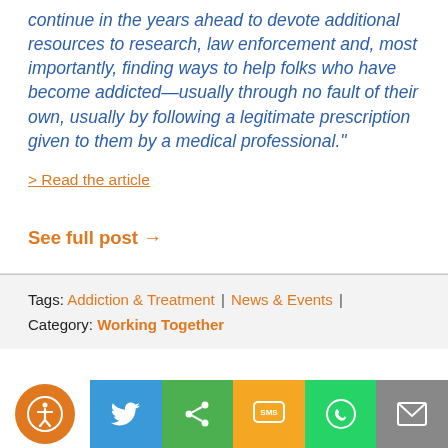continue in the years ahead to devote additional resources to research, law enforcement and, most importantly, finding ways to help folks who have become addicted—usually through no fault of their own, usually by following a legitimate prescription given to them by a medical professional."
> Read the article
See full post →
Tags: Addiction & Treatment | News & Events | Category: Working Together